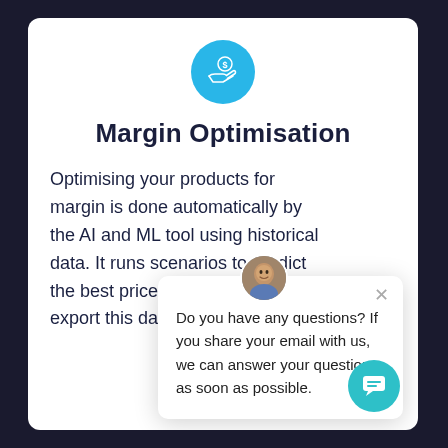[Figure (illustration): Blue circle icon with a hand holding a dollar coin/gear symbol]
Margin Optimisation
Optimising your products for margin is done automatically by the AI and ML tool using historical data. It runs scenarios to predict the best price for highe... easily export this da...
[Figure (screenshot): Chat popup overlay with avatar photo of a man, close X button, and message: Do you have any questions? If you share your email with us, we can answer your questions as soon as possible.]
[Figure (illustration): Teal/cyan chat button circle in bottom right corner with chat bubble icon]